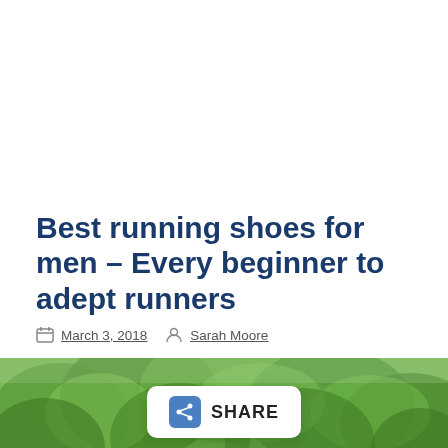Best running shoes for men – Every beginner to adept runners
March 3, 2018   Sarah Moore
[Figure (photo): A person running through a forested trail with green trees in background, overlaid with a SHARE button and social media share icons for Facebook, Twitter, LinkedIn, Pinterest, and Reddit.]